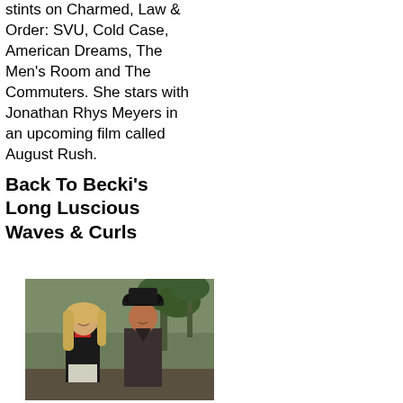stints on Charmed, Law & Order: SVU, Cold Case, American Dreams, The Men's Room and The Commuters. She stars with Jonathan Rhys Meyers in an upcoming film called August Rush.
Back To Becki's Long Luscious Waves & Curls
[Figure (photo): A woman with long wavy blonde hair wearing a black jacket with red accents standing next to a man wearing a black cowboy hat and dark shirt, with palm trees in the background.]